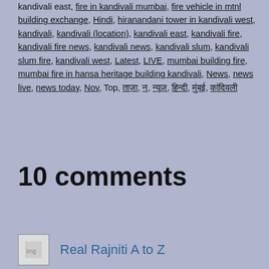Tagged fire breaks in Kandivali, fire in Kandivali, fire in kandivali east, fire in kandivali mumbai, fire vehicle in mtnl building exchange, Hindi, hiranandani tower in kandivali west, kandivali, kandivali (location), kandivali east, kandivali fire, kandivali fire news, kandivali news, kandivali slum, kandivali slum fire, kandivali west, Latest, LIVE, mumbai building fire, mumbai fire in hansa heritage building kandivali, News, news live, news today, Nov, Top, ताज़ा, न, न्यूज़, हिन्दी, मुंबई, कांदिवली
10 comments
Real Rajniti A to Z